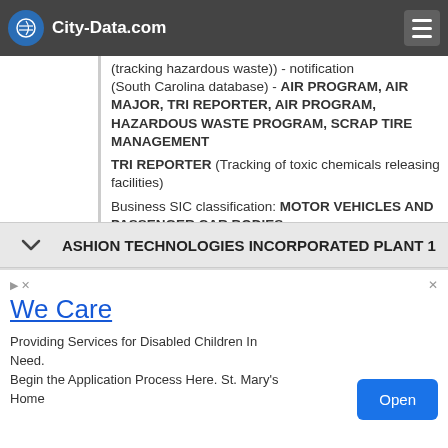City-Data.com
(tracking hazardous waste)) - notification ... (South Carolina database) - AIR PROGRAM, AIR MAJOR, TRI REPORTER, AIR PROGRAM, HAZARDOUS WASTE PROGRAM, SCRAP TIRE MANAGEMENT
TRI REPORTER (Tracking of toxic chemicals releasing facilities)
Business SIC classification: MOTOR VEHICLES AND PASSENGER CAR BODIES
Organizations: URS CORPORATION (CONTACT/ENGINEERING/CONSULTING FIRM) , OPERNAME (CONTACT/OPERATOR) , FREIGHTLINER CORP (CONTACT/OWNER)
ASHION TECHNOLOGIES INCORPORATED PLANT 1
We Care
Providing Services for Disabled Children In Need. Begin the Application Process Here. St. Mary's Home